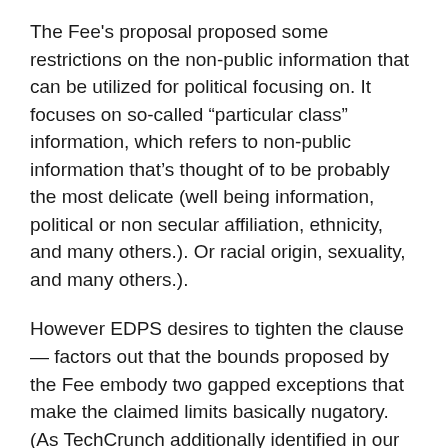The Fee's proposal proposed some restrictions on the non-public information that can be utilized for political focusing on. It focuses on so-called “particular class” information, which refers to non-public information that’s thought of to be probably the most delicate (well being information, political or non secular affiliation, ethnicity, and many others.). Or racial origin, sexuality, and many others.).
However EDPS desires to tighten the clause — factors out that the bounds proposed by the Fee embody two gapped exceptions that make the claimed limits basically nugatory. (As TechCrunch additionally identified in our evaluation) last year).
“EDPS truly believes that Article 12 of the proposal doesn’t appear to offer extra safety in comparison with present union